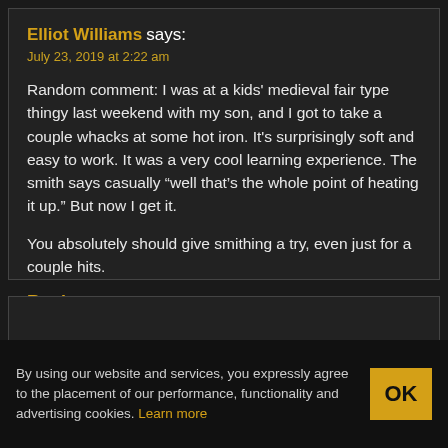Elliot Williams says:
July 23, 2019 at 2:22 am
Random comment: I was at a kids' medieval fair type thingy last weekend with my son, and I got to take a couple whacks at some hot iron. It's surprisingly soft and easy to work. It was a very cool learning experience. The smith says casually “well that’s the whole point of heating it up.” But now I get it.
You absolutely should give smithing a try, even just for a couple hits.
Reply
Report comment
By using our website and services, you expressly agree to the placement of our performance, functionality and advertising cookies. Learn more